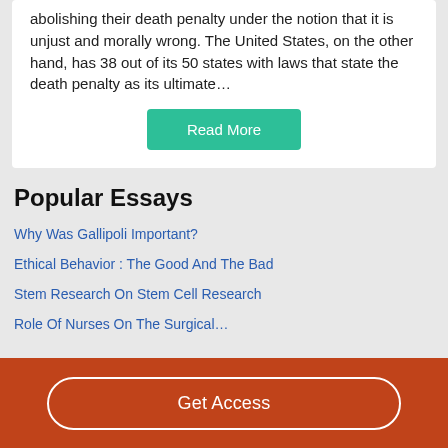abolishing their death penalty under the notion that it is unjust and morally wrong. The United States, on the other hand, has 38 out of its 50 states with laws that state the death penalty as its ultimate…
Read More
Popular Essays
Why Was Gallipoli Important?
Ethical Behavior : The Good And The Bad
Stem Research On Stem Cell Research
Role Of Nurses On The Surgical…
Get Access